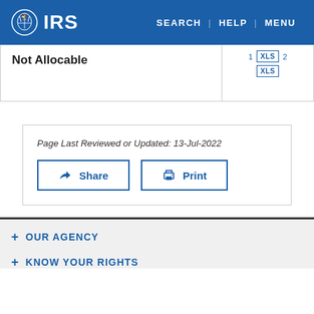IRS | SEARCH | HELP | MENU
| Not Allocable | 1 XLS 2 / XLS |
| --- | --- |
Page Last Reviewed or Updated: 13-Jul-2022
Share   Print
+ OUR AGENCY
+ KNOW YOUR RIGHTS